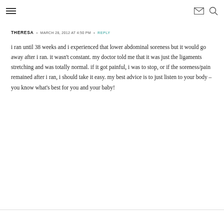≡  ✉ 🔍
THERESA · MARCH 28, 2012 AT 4:50 PM · REPLY
i ran until 38 weeks and i experienced that lower abdominal soreness but it would go away after i ran. it wasn't constant. my doctor told me that it was just the ligaments stretching and was totally normal. if it got painful, i was to stop, or if the soreness/pain remained after i ran, i should take it easy. my best advice is to just listen to your body – you know what's best for you and your baby!